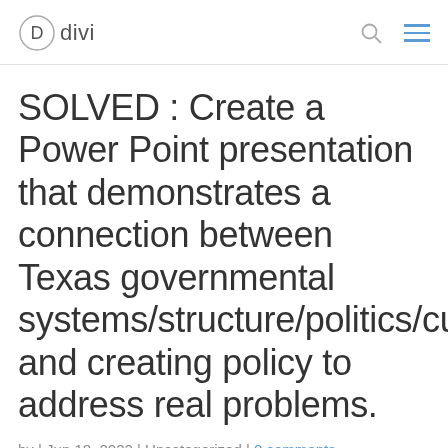divi
SOLVED : Create a Power Point presentation that demonstrates a connection between Texas governmental systems/structure/politics/culture and creating policy to address real problems.
by | Jun 18, 2022 | Uncategorized | 0 comments